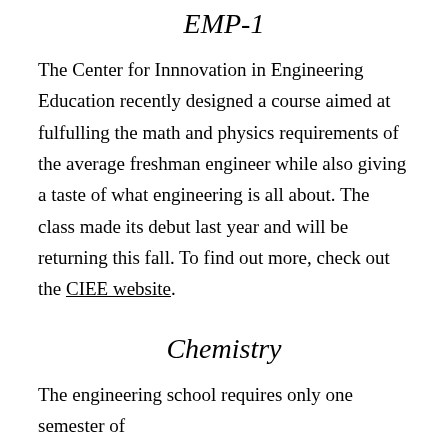EMP-1
The Center for Innnovation in Engineering Education recently designed a course aimed at fulfulling the math and physics requirements of the average freshman engineer while also giving a taste of what engineering is all about. The class made its debut last year and will be returning this fall. To find out more, check out the CIEE website.
Chemistry
The engineering school requires only one semester of